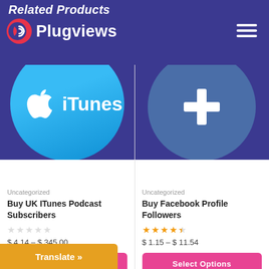Related Products — Plugviews
[Figure (screenshot): iTunes product card with blue circle logo showing Apple iTunes icon and text]
Uncategorized
Buy UK ITunes Podcast Subscribers
$ 4.14 – $ 345.00
[Figure (screenshot): Facebook Profile Followers product card with blue circle showing cross/plus icon]
Uncategorized
Buy Facebook Profile Followers
$ 1.15 – $ 11.54
Translate »